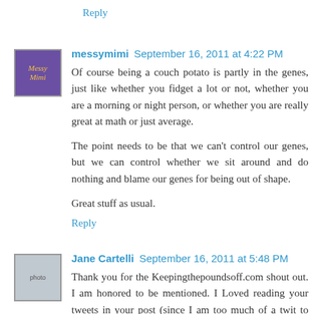Reply
messymimi  September 16, 2011 at 4:22 PM
Of course being a couch potato is partly in the genes, just like whether you fidget a lot or not, whether you are a morning or night person, or whether you are really great at math or just average.

The point needs to be that we can't control our genes, but we can control whether we sit around and do nothing and blame our genes for being out of shape.

Great stuff as usual.
Reply
Jane Cartelli  September 16, 2011 at 5:48 PM
Thank you for the Keepingthepoundsoff.com shout out. I am honored to be mentioned. I Loved reading your tweets in your post (since I am too much of a twit to tweet on my